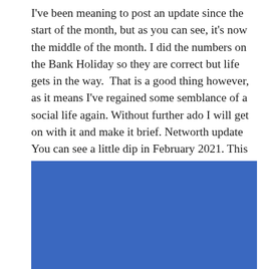I've been meaning to post an update since the start of the month, but as you can see, it's now the middle of the month. I did the numbers on the Bank Holiday so they are correct but life gets in the way.  That is a good thing however, as it means I've regained some semblance of a social life again. Without further ado I will get on with it and make it brief. Networth update You can see a little dip in February 2021. This is because the UK property index for my London Borough took a dip.  The ... Continue reading
[Figure (other): Blue rectangular image block, remainder of a partially visible image with solid blue color]